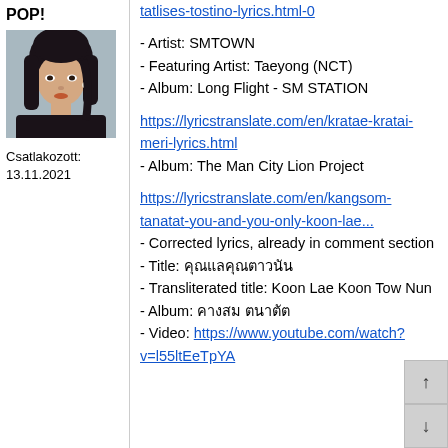POP!
[Figure (photo): Profile photo of a young woman with dark hair, wearing a black top and earring, side-lit portrait]
Csatlakozott: 13.11.2021
tatlises-tostino-lyrics.html-0
- Artist: SMTOWN
- Featuring Artist: Taeyong (NCT)
- Album: Long Flight - SM STATION
https://lyricstranslate.com/en/kratae-kratai-meri-lyrics.html
- Album: The Man City Lion Project
https://lyricstranslate.com/en/kangsom-tanatat-you-and-you-only-koon-lae...
- Corrected lyrics, already in comment section
- Title: คุณแลคุณตาวนัน
- Transliterated title: Koon Lae Koon Tow Nun
- Album: คางสม ตนาตัต
- Video: https://www.youtube.com/watch?v=l55ltEeTpYA